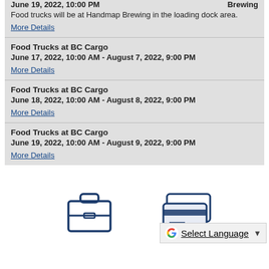June 19, 2022, 10:00 PM — Brewing
Food trucks will be at Handmap Brewing in the loading dock area.
More Details
Food Trucks at BC Cargo
June 17, 2022, 10:00 AM - August 7, 2022, 9:00 PM
More Details
Food Trucks at BC Cargo
June 18, 2022, 10:00 AM - August 8, 2022, 9:00 PM
More Details
Food Trucks at BC Cargo
June 19, 2022, 10:00 AM - August 9, 2022, 9:00 PM
More Details
[Figure (illustration): Briefcase icon (outline, dark blue)]
[Figure (illustration): Credit cards icon (outline, dark blue)]
Select Language